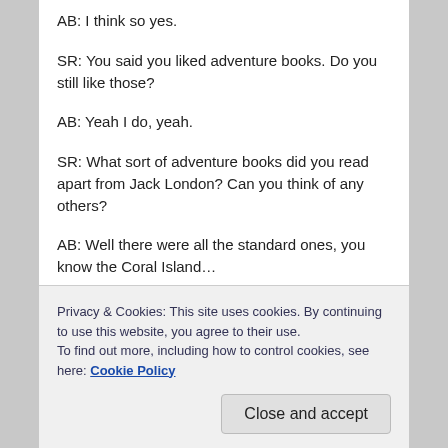AB: I think so yes.
SR: You said you liked adventure books. Do you still like those?
AB: Yeah I do, yeah.
SR: What sort of adventure books did you read apart from Jack London? Can you think of any others?
AB: Well there were all the standard ones, you know the Coral Island…
SR: Was that Stevenson or Ballantyne?
AB: Ballantyne. And Robert Louis Ste…
Privacy & Cookies: This site uses cookies. By continuing to use this website, you agree to their use.
To find out more, including how to control cookies, see here: Cookie Policy
Close and accept